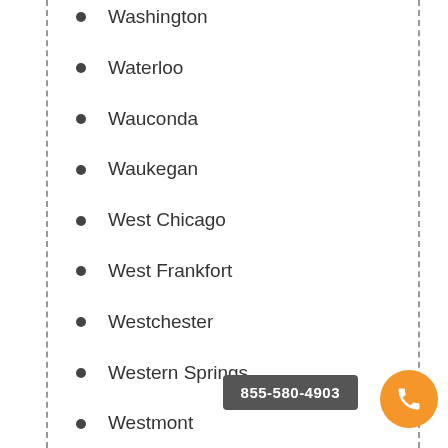Washington
Waterloo
Wauconda
Waukegan
West Chicago
West Frankfort
Westchester
Western Springs
Westmont
Wheaton